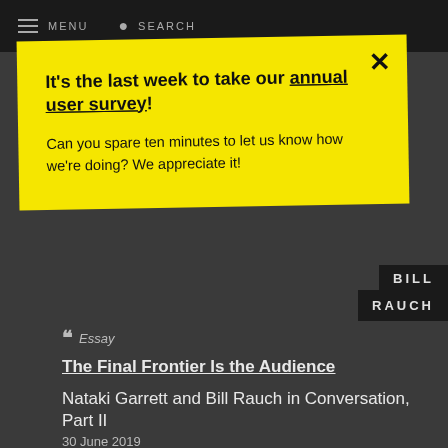MENU   SEARCH
It's the last week to take our annual user survey! Can you spare ten minutes to let us know how we're doing? We appreciate it!
BILL
RAUCH
Essay
The Final Frontier Is the Audience
Nataki Garrett and Bill Rauch in Conversation, Part II
30 June 2019